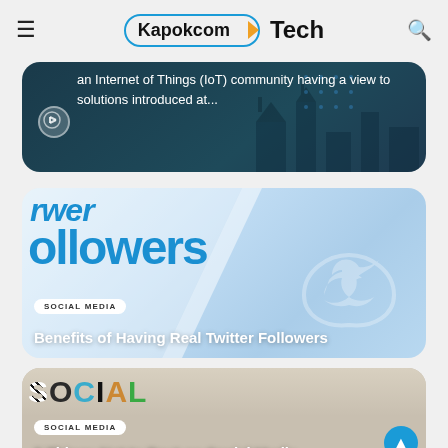Kapokcom Tech
[Figure (screenshot): Dark teal IoT themed card with text: an Internet of Things (IoT) community having a view to solutions introduced at...]
[Figure (screenshot): Light blue Twitter followers card with large 'followers' text and Twitter bird icon, category label SOCIAL MEDIA, title: Benefits of Having Real Twitter Followers]
[Figure (screenshot): Colorful decorative letters spelling SOCIAL MEDIA, category label SOCIAL MEDIA, title: 5 Things Not to Post on Social Media]